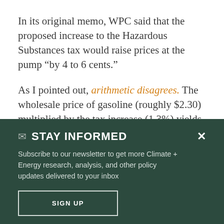In its original memo, WPC said that the proposed increase to the Hazardous Substances tax would raise prices at the pump “by 4 to 6 cents.”
As I pointed out, arithmetic disagrees. The wholesale price of gasoline (roughly $2.30) multiplied by the tax increase (1.3%) yields a price increase of 3 cents. (And that’s what
STAY INFORMED
Subscribe to our newsletter to get more Climate + Energy research, analysis, and other policy updates delivered to your inbox